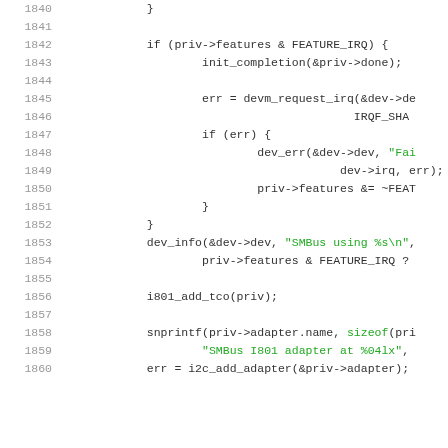Source code listing, lines 1840-1860, C kernel driver code